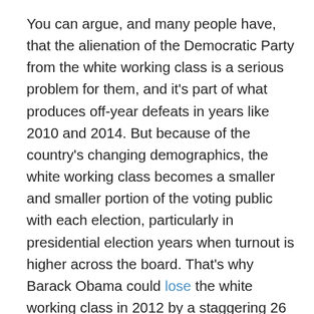You can argue, and many people have, that the alienation of the Democratic Party from the white working class is a serious problem for them, and it's part of what produces off-year defeats in years like 2010 and 2014. But because of the country's changing demographics, the white working class becomes a smaller and smaller portion of the voting public with each election, particularly in presidential election years when turnout is higher across the board. That's why Barack Obama could lose the white working class in 2012 by a staggering 26 points (62-36), and still win the election comfortably. So if you're going to argue that Donald Trump will ride these voters to victory, you'd have to believe that he'd do not just better than Mitt Romney did with them, but hugely better, so much so that it would overcome the advantages the Democratic nominee will have with other voters.